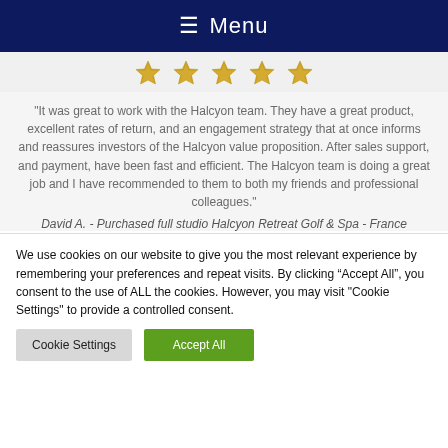☰ Menu
[Figure (illustration): Five gold star ribbon icons in a row indicating a 5-star rating]
"It was great to work with the Halcyon team. They have a great product, excellent rates of return, and an engagement strategy that at once informs and reassures investors of the Halcyon value proposition. After sales support, and payment, have been fast and efficient. The Halcyon team is doing a great job and I have recommended to them to both my friends and professional colleagues."
David A. - Purchased full studio Halcyon Retreat Golf & Spa - France
We use cookies on our website to give you the most relevant experience by remembering your preferences and repeat visits. By clicking "Accept All", you consent to the use of ALL the cookies. However, you may visit "Cookie Settings" to provide a controlled consent.
Cookie Settings | Accept All